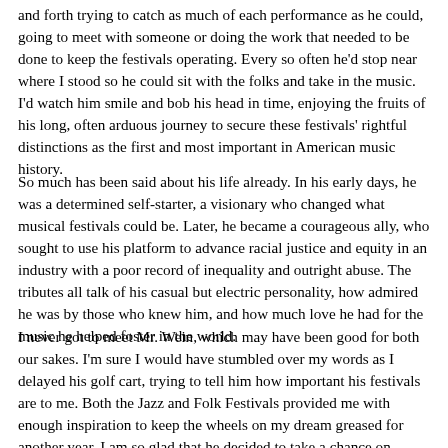and forth trying to catch as much of each performance as he could, going to meet with someone or doing the work that needed to be done to keep the festivals operating. Every so often he'd stop near where I stood so he could sit with the folks and take in the music. I'd watch him smile and bob his head in time, enjoying the fruits of his long, often arduous journey to secure these festivals' rightful distinctions as the first and most important in American music history.
So much has been said about his life already. In his early days, he was a determined self-starter, a visionary who changed what musical festivals could be. Later, he became a courageous ally, who sought to use his platform to advance racial justice and equity in an industry with a poor record of inequality and outright abuse. The tributes all talk of his casual but electric personality, how admired he was by those who knew him, and how much love he had for the music he helped foster in the world.
I never got to meet Mr. Wein, which may have been good for both our sakes. I'm sure I would have stumbled over my words as I delayed his golf cart, trying to tell him how important his festivals are to me. Both the Jazz and Folk Festivals provided me with enough inspiration to keep the wheels on my dream greased for another year. I am so glad that he decided to take a chance on starting these festivals in a little seaside town down the road from where I grew up. Without his dream, I probably would either be in